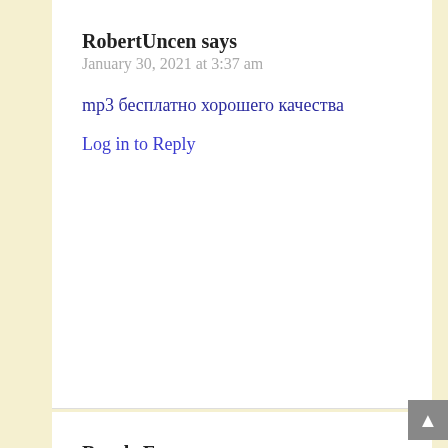RobertUncen says
January 30, 2021 at 3:37 am
mp3 бесплатно хорошего качества
Log in to Reply
BrooksFap says
January 30, 2021 at 9:40 am
песнь песней слушать онлайн бесплатно
Log in to Reply
Roberterrof says
January 30, 2021 at 2:45 pm